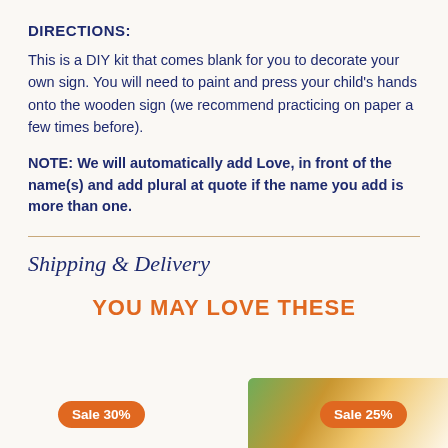DIRECTIONS:
This is a DIY kit that comes blank for you to decorate your own sign. You will need to paint and press your child's hands onto the wooden sign (we recommend practicing on paper a few times before).
NOTE: We will automatically add Love, in front of the name(s) and add plural at quote if the name you add is more than one.
Shipping & Delivery
YOU MAY LOVE THESE
Sale 30%
Sale 25%